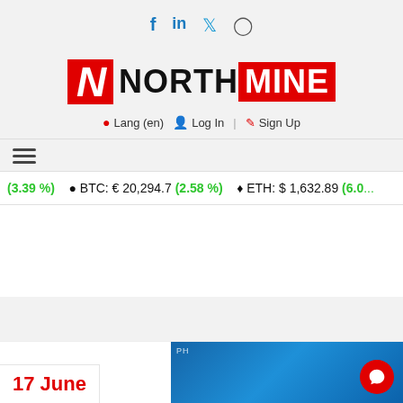[Figure (logo): Social media icons: Facebook, LinkedIn, Twitter, Instagram]
[Figure (logo): NorthMine logo with red N icon and NORTHMINE text, MINE on red background]
Lang (en)  Log In  |  Sign Up
≡ (hamburger menu icon)
(3.39 %)  BTC: € 20,294.7 (2.58 %)  ETH: $ 1,632.89 (6.0...
17 June